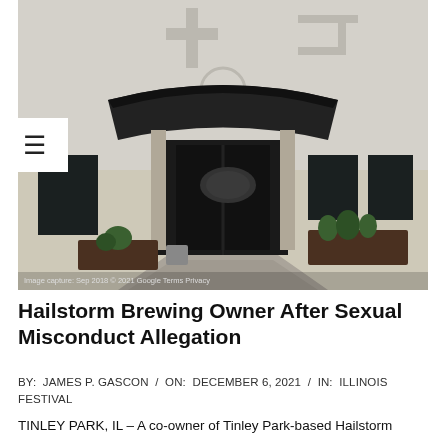[Figure (photo): Exterior view of a building entrance with a curved dark canopy/awning over glass doors, light-colored facade with geometric decorative elements, small landscaping in front, concrete walkway. Google Street View image with watermark 'Image capture: Sep 2018 © 2021 Google Terms Privacy'.]
Hailstorm Brewing Owner After Sexual Misconduct Allegation
BY:  JAMES P. GASCON  /  ON:  DECEMBER 6, 2021  /  IN:  ILLINOIS FESTIVAL
TINLEY PARK, IL – A co-owner of Tinley Park-based Hailstorm